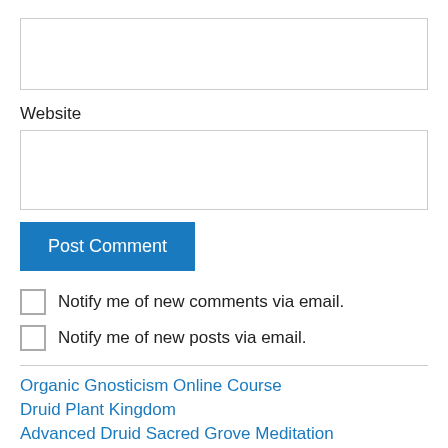[Figure (screenshot): Empty text input box at top of page]
Website
[Figure (screenshot): Empty website text input box]
Post Comment
Notify me of new comments via email.
Notify me of new posts via email.
Organic Gnosticism Online Course
Druid Plant Kingdom
Advanced Druid Sacred Grove Meditation
Druid Sacred Grove Meditation
Druid Circle Meditation